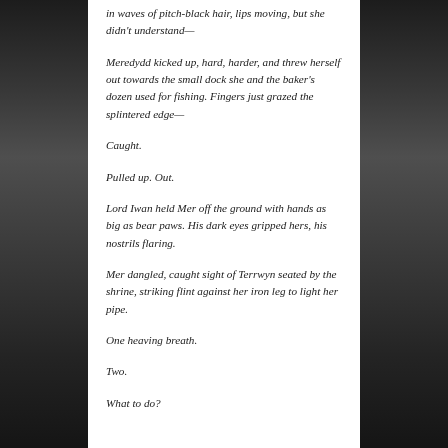[Figure (photo): Black and white photograph of a park or wooded area with bare trees and water visible, flanking both sides of the text content area]
in waves of pitch-black hair, lips moving, but she didn't understand—
Meredydd kicked up, hard, harder, and threw herself out towards the small dock she and the baker's dozen used for fishing. Fingers just grazed the splintered edge—
Caught.
Pulled up. Out.
Lord Iwan held Mer off the ground with hands as big as bear paws. His dark eyes gripped hers, his nostrils flaring.
Mer dangled, caught sight of Terrwyn seated by the shrine, striking flint against her iron leg to light her pipe.
One heaving breath.
Two.
What to do?